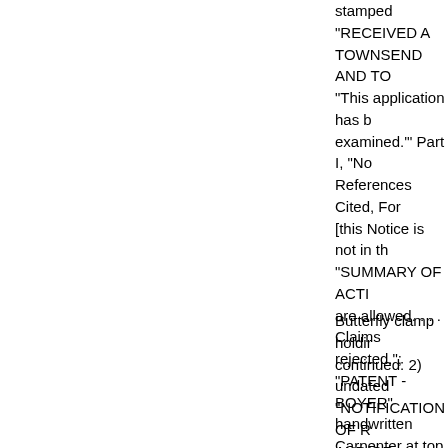stamped "RECEIVED A... TOWNSEND AND TO... "This application has b... examined.'" Part I, "No... References Cited, For... [this Notice is not in th... "SUMMARY OF ACTI... are allowed. . . . Claims... rejected."; "PATENT -... BOYER" handwritten... Carpenter at top of pa... document seems to be... wrong folder. The con... 1975, not 1974].
Butterfly clamp holdir... continued: 2) undated... "NOTIFICATION OF R... AND/OR OBJECTION... 132)", detailing opinio... 26, stamped "ALVIN E... EXAMINER ART UNIT... document seems to be... wrong folder. The con... 1975, not 1974].
Butterfly clamp holdir...